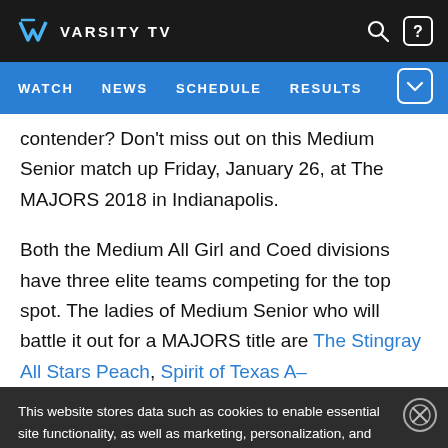VARSITY TV — WATCH | NEWS | SCHEDULE | RESULTS
contender? Don't miss out on this Medium Senior match up Friday, January 26, at The MAJORS 2018 in Indianapolis.

Both the Medium All Girl and Coed divisions have three elite teams competing for the top spot. The ladies of Medium Senior who will battle it out for a MAJORS title are The Stingray All Stars Peach, Spirit of Texas A–
This website stores data such as cookies to enable essential site functionality, as well as marketing, personalization, and analytics. By remaining on this website you indicate your consent. Data Storage Policy